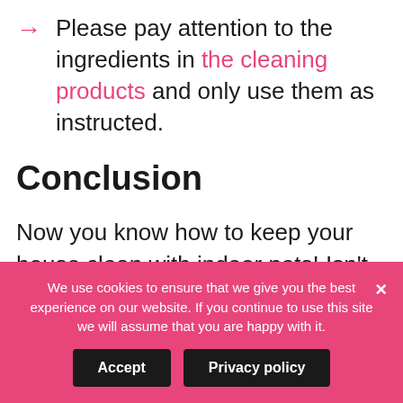Please pay attention to the ingredients in the cleaning products and only use them as instructed.
Conclusion
Now you know how to keep your house clean with indoor pets! Isn't that awesome? You no longer have to stress about your house looking or smelling bad. However, keep in mind that
We use cookies to ensure that we give you the best experience on our website. If you continue to use this site we will assume that you are happy with it.